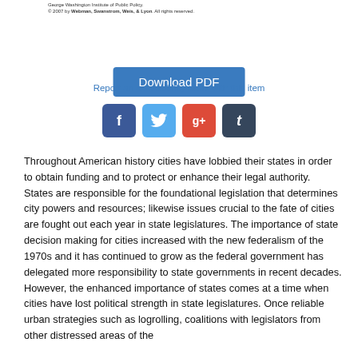George Washington Institute of Public Policy.
© 2007 by Webman, Swanstrom, Weis, & Lyon. All rights reserved.
[Figure (other): Download PDF button — a blue rectangular button with white text reading 'Download PDF']
Report an accessibility issue with this item
[Figure (other): Four social sharing buttons: Facebook (blue, f), Twitter (light blue, bird), Google+ (red, g+), Tumblr (dark blue, t)]
Throughout American history cities have lobbied their states in order to obtain funding and to protect or enhance their legal authority. States are responsible for the foundational legislation that determines city powers and resources; likewise issues crucial to the fate of cities are fought out each year in state legislatures. The importance of state decision making for cities increased with the new federalism of the 1970s and it has continued to grow as the federal government has delegated more responsibility to state governments in recent decades. However, the enhanced importance of states comes at a time when cities have lost political strength in state legislatures. Once reliable urban strategies such as logrolling, coalitions with legislators from other distressed areas of the